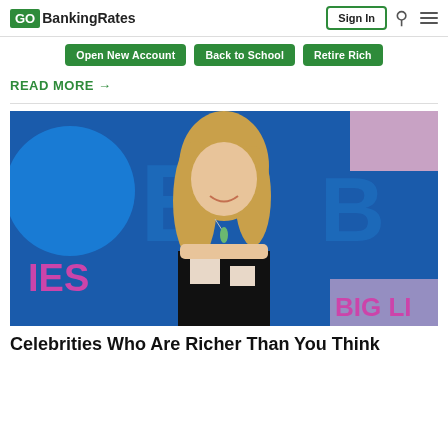GOBankingRates | Sign In
Open New Account | Back to School | Retire Rich
READ MORE →
[Figure (photo): A smiling blonde woman in a strapless black and white patterned dress at what appears to be a 'Big Lies' event backdrop]
Celebrities Who Are Richer Than You Think